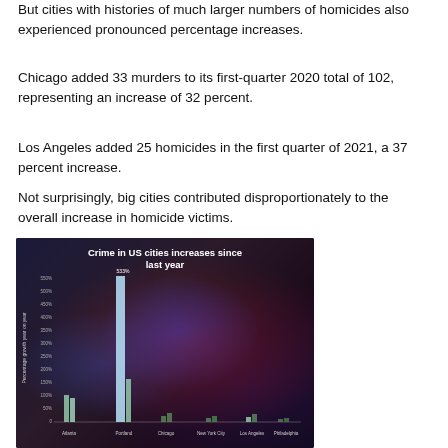But cities with histories of much larger numbers of homicides also experienced pronounced percentage increases.
Chicago added 33 murders to its first-quarter 2020 total of 102, representing an increase of 32 percent.
Los Angeles added 25 homicides in the first quarter of 2021, a 37 percent increase.
Not surprisingly, big cities contributed disproportionately to the overall increase in homicide victims.
[Figure (bar-chart): Crime in US cities increases since last year]